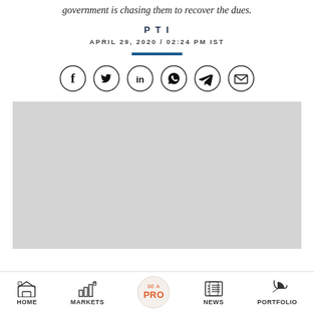government is chasing them to recover the dues.
PTI
APRIL 29, 2020 / 02:24 PM IST
[Figure (other): Social share icons: Facebook, Twitter, LinkedIn, WhatsApp, Telegram, Email]
[Figure (other): Advertisement placeholder (grey rectangle)]
HOME  MARKETS  BE A PRO  NEWS  PORTFOLIO